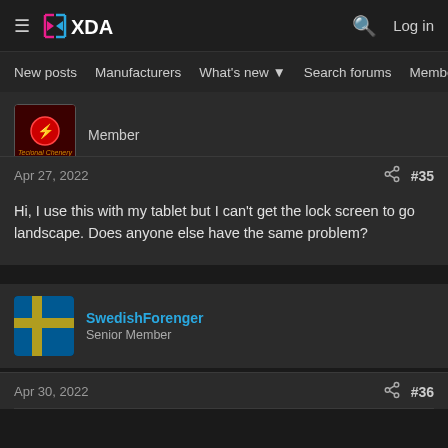XDA — New posts | Manufacturers | What's new | Search forums | Members
Member
Apr 27, 2022  #35
Hi, I use this with my tablet but I can't get the lock screen to go landscape. Does anyone else have the same problem?
SwedishForenger
Senior Member
Apr 30, 2022  #36